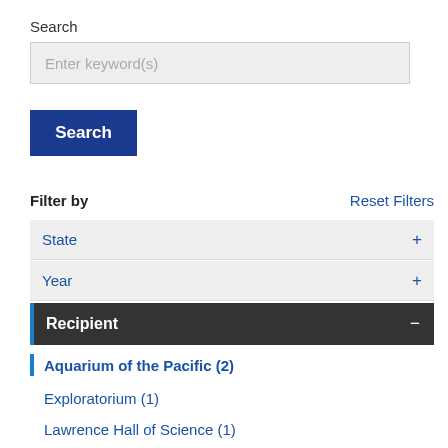Search
Enter keyword(s)
Search
Filter by
Reset Filters
State +
Year +
Recipient -
Aquarium of the Pacific (2)
Exploratorium (1)
Lawrence Hall of Science (1)